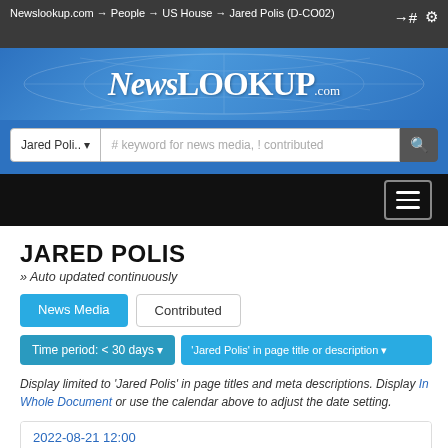Newslookup.com → People → US House → Jared Polis (D-CO02)
[Figure (screenshot): NewsLookup.com site logo on blue background with world map]
[Figure (screenshot): Search bar with dropdown showing 'Jared Poli..' and text input placeholder '# keyword for news media, ! contributed']
[Figure (screenshot): Black navigation bar with hamburger menu button on right]
JARED POLIS
Auto updated continuously
News Media   Contributed
Time period: < 30 days   'Jared Polis' in page title or description
Display limited to 'Jared Polis' in page titles and meta descriptions. Display In Whole Document or use the calendar above to adjust the date setting.
2022-08-21 12:00
Denver Post